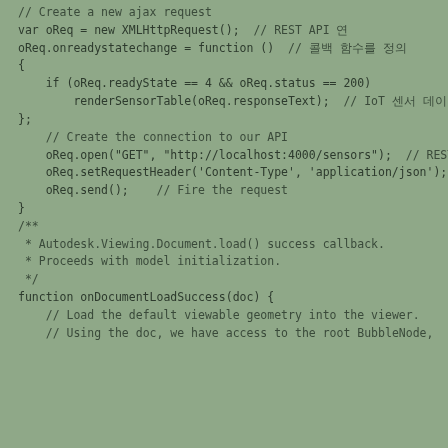// Create a new ajax request
var oReq = new XMLHttpRequest();  // REST API 연

oReq.onreadystatechange = function ()  // 콜백 함수를 정의
{
    if (oReq.readyState == 4 && oReq.status == 200)
        renderSensorTable(oReq.responseText);  // IoT 센서 데이터 렌더링
};

// Create the connection to our API
oReq.open("GET", "http://localhost:4000/sensors");  // REST API서버 연결 IoT 센서 데이터를 가져옴
oReq.setRequestHeader('Content-Type', 'application/json');
oReq.send();    // Fire the request
}

/**
* Autodesk.Viewing.Document.load() success callback.
* Proceeds with model initialization.
*/
function onDocumentLoadSuccess(doc) {
    // Load the default viewable geometry into the viewer.
    // Using the doc, we have access to the root BubbleNode,